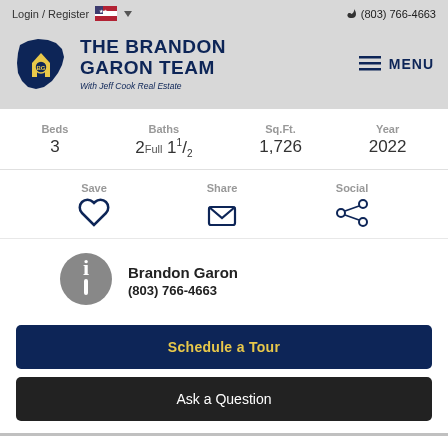Login / Register  (803) 766-4663
[Figure (logo): The Brandon Garon Team with Jeff Cook Real Estate logo — dark blue South Carolina state outline with a yellow house icon, beside bold dark blue text reading THE BRANDON GARON TEAM with Jeff Cook Real Estate]
Beds 3  Baths 2 Full 1 1/2  Sq.Ft. 1,726  Year 2022
Save  Share  Social
Brandon Garon
(803) 766-4663
Schedule a Tour
Ask a Question